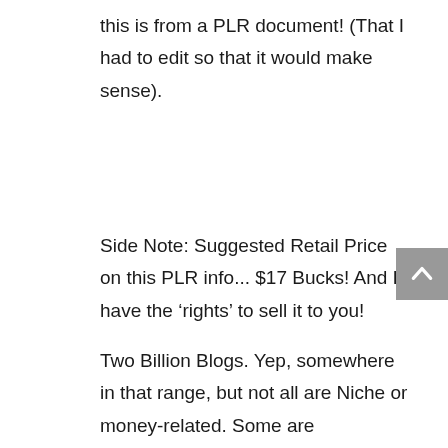this is from a PLR document! (That I had to edit so that it would make sense).
Side Note: Suggested Retail Price on this PLR info... $17 Bucks! And I have the ‘rights’ to sell it to you!
Two Billion Blogs. Yep, somewhere in that range, but not all are Niche or money-related. Some are